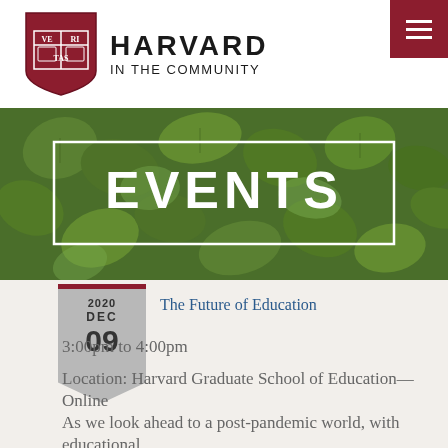[Figure (logo): Harvard shield logo with VERITAS text, red and white]
HARVARD IN THE COMMUNITY
[Figure (photo): Green ivy leaves background with EVENTS text overlay in a white bordered box]
2020 DEC 09
The Future of Education
3:00pm to 4:00pm
Location: Harvard Graduate School of Education—Online
As we look ahead to a post-pandemic world, with educational